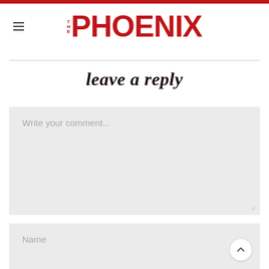THE PHOENIX
leave a reply
Write your comment...
Name